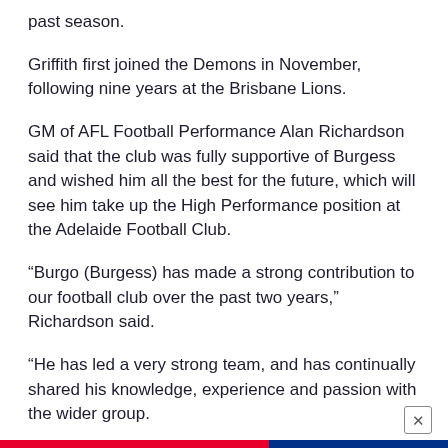past season.
Griffith first joined the Demons in November, following nine years at the Brisbane Lions.
GM of AFL Football Performance Alan Richardson said that the club was fully supportive of Burgess and wished him all the best for the future, which will see him take up the High Performance position at the Adelaide Football Club.
“Burgo (Burgess) has made a strong contribution to our football club over the past two years,” Richardson said.
“He has led a very strong team, and has continually shared his knowledge, experience and passion with the wider group.
“We thank him immensely for his contribution and wish him all the best back in Adelaide.